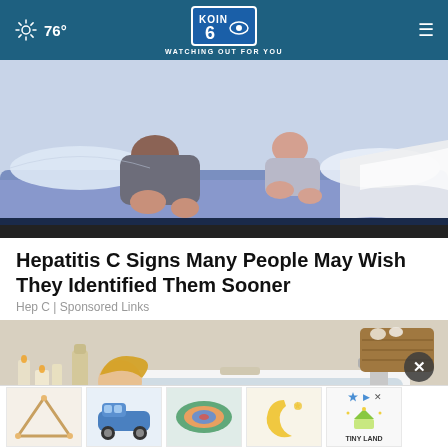76° KOIN 6 WATCHING OUT FOR YOU
[Figure (illustration): Cartoon illustration of two people lying on a bed, one appears to be a child and one an adult, with pillows and blankets. Light blue and warm tones.]
Hepatitis C Signs Many People May Wish They Identified Them Sooner
Hep C | Sponsored Links
[Figure (photo): Woman relaxing in a bathtub smiling, with candles and bath products visible on the left, a basket with items on the right. Faucet visible. Advertisement overlay at bottom with thumbnail images.]